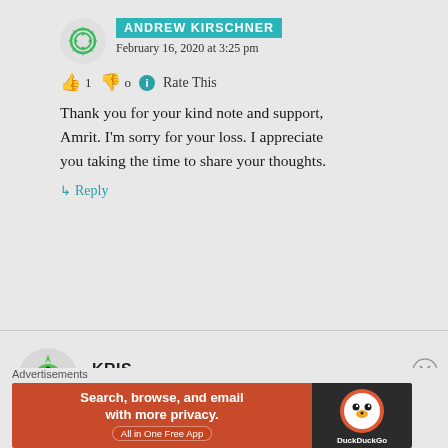ANDREW KIRSCHNER — February 16, 2020 at 3:25 pm
👍 1 👎 0 ℹ Rate This
Thank you for your kind note and support, Amrit. I'm sorry for your loss. I appreciate you taking the time to share your thoughts.
↳ Reply
KRIS — February 16, 2020 at 1:19 pm
👍 2 👎 0 ℹ Rate This
[Figure (screenshot): DuckDuckGo advertisement banner: orange background with text 'Search, browse, and email with more privacy. All in One Free App' and DuckDuckGo logo on dark right panel]